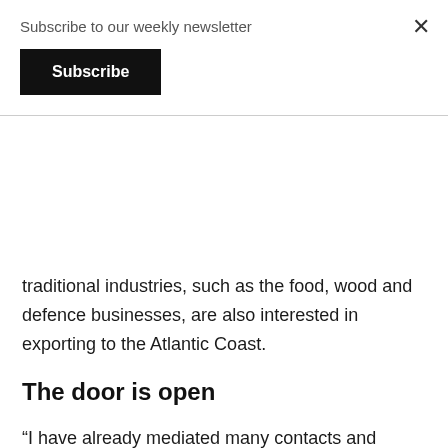Subscribe to our weekly newsletter
Subscribe
traditional industries, such as the food, wood and defence businesses, are also interested in exporting to the Atlantic Coast.
The door is open
“I have already mediated many contacts and brought the right people together with Estonian companies, and I am aware of several deals being finalised. My contacts are public and the door is open,” York said, encouraging Estonian companies interested in the American market to